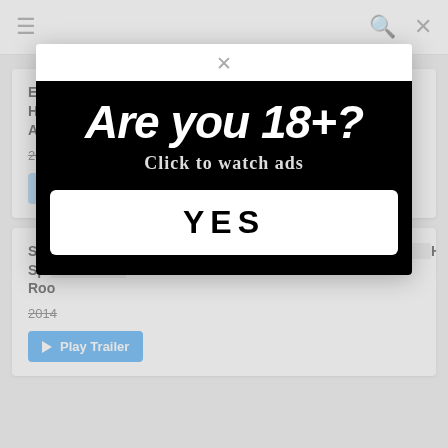☰  🔍  ✕
ERM-003 Studio Prestige If They Get Caught, Their Husbands Will Divorce Them Immediately ! The Domestic Adultery Of Ma
2014-09-10
Play Trailer
[Figure (infographic): Age verification popup modal with black background. Large bold italic white text reads 'Are you 18+?' Subtitle text reads 'Click to watch ads'. White button with black text 'YES'.]
SDD... Hot Spring Room
2014
Play Trailer